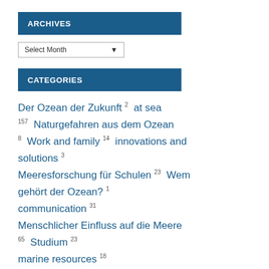ARCHIVES
Select Month
CATEGORIES
Der Ozean der Zukunft 2  at sea 157  Naturgefahren aus dem Ozean 8  Work and family 14  innovations and solutions 3  Meeresforschung für Schulen 23  Wem gehört der Ozean? 1  communication 31  Menschlicher Einfluss auf die Meere 65  Studium 23  marine resources 18